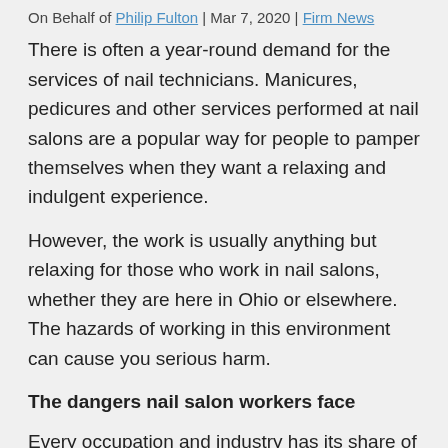On Behalf of Philip Fulton | Mar 7, 2020 | Firm News
There is often a year-round demand for the services of nail technicians. Manicures, pedicures and other services performed at nail salons are a popular way for people to pamper themselves when they want a relaxing and indulgent experience.
However, the work is usually anything but relaxing for those who work in nail salons, whether they are here in Ohio or elsewhere. The hazards of working in this environment can cause you serious harm.
The dangers nail salon workers face
Every occupation and industry has its share of risks, and working in a nail salon is no exception. You face the following potential work-related injuries:
You could contract an infectious disease from one of your clients. To avoid this, make sure you wash your